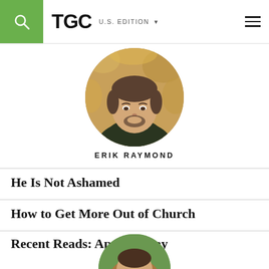TGC U.S. EDITION
[Figure (photo): Circular portrait photo of Erik Raymond, a man with short hair and a beard wearing a dark jacket, set against an autumn background]
ERIK RAYMOND
He Is Not Ashamed
How to Get More Out of Church
Recent Reads: April & May
[Figure (photo): Partial circular portrait photo of another person, cropped at the bottom of the page]